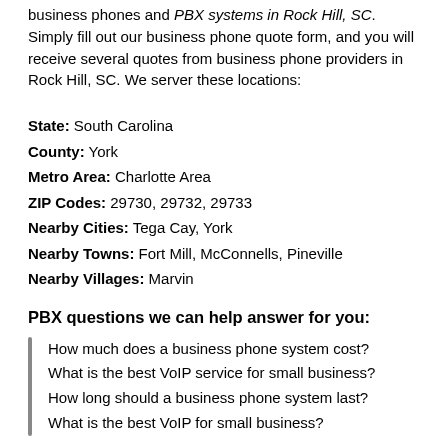business phones and PBX systems in Rock Hill, SC. Simply fill out our business phone quote form, and you will receive several quotes from business phone providers in Rock Hill, SC. We server these locations:
State: South Carolina
County: York
Metro Area: Charlotte Area
ZIP Codes: 29730, 29732, 29733
Nearby Cities: Tega Cay, York
Nearby Towns: Fort Mill, McConnells, Pineville
Nearby Villages: Marvin
PBX questions we can help answer for you:
How much does a business phone system cost?
What is the best VoIP service for small business?
How long should a business phone system last?
What is the best VoIP for small business?